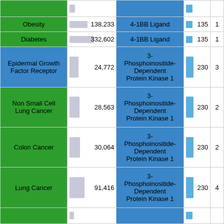| Disease/Condition | Count | Protein/Target | Count2 | Val |
| --- | --- | --- | --- | --- |
| Obesity | 138,233 | 4-1BB Ligand | 135 | 1 |
| Diabetes | 332,602 | 4-1BB Ligand | 135 | 1 |
| Epidermal Growth Factor Receptor | 24,772 | 3-Phosphoinositide-Dependent Protein Kinase 1 | 230 | 3 |
| Non Small Cell Lung Cancer | 28,563 | 3-Phosphoinositide-Dependent Protein Kinase 1 | 230 | 2 |
| Colon Cancer | 30,064 | 3-Phosphoinositide-Dependent Protein Kinase 1 | 230 | 2 |
| Lung Cancer | 91,416 | 3-Phosphoinositide-Dependent Protein Kinase 1 | 230 | 4 |